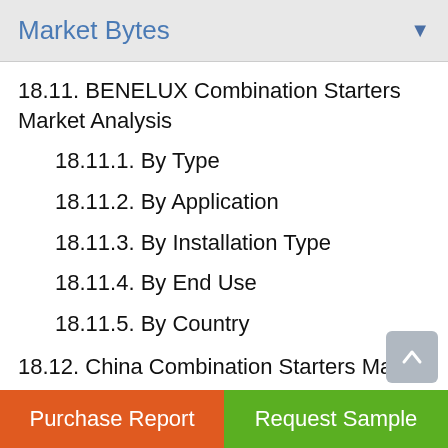Market Bytes
18.11. BENELUX Combination Starters Market Analysis
18.11.1. By Type
18.11.2. By Application
18.11.3. By Installation Type
18.11.4. By End Use
18.11.5. By Country
18.12. China Combination Starters Market Analysis